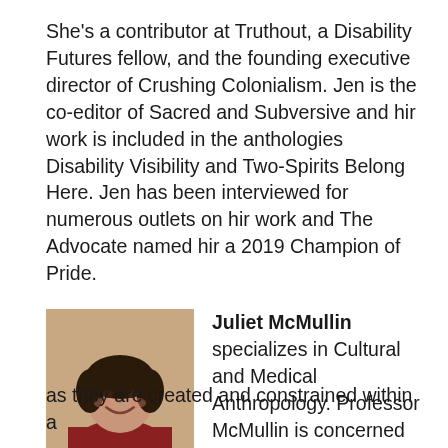She's a contributor at Truthout, a Disability Futures fellow, and the founding executive director of Crushing Colonialism. Jen is the co-editor of Sacred and Subversive and hir work is included in the anthologies Disability Visibility and Two-Spirits Belong Here. Jen has been interviewed for numerous outlets on hir work and The Advocate named hir a 2019 Champion of Pride.
[Figure (photo): Headshot of Juliet McMullin, a woman with dark hair, smiling, wearing a red top, against a warm background.]
Juliet McMullin specializes in Cultural and Medical Anthropology. Professor McMullin is concerned with the production and organization of medical knowledge as they are created and constrained within a